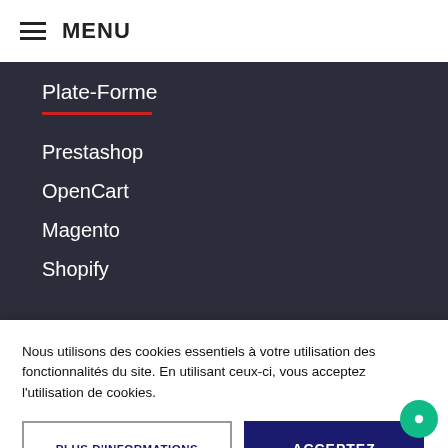MENU
Plate-Forme
Prestashop
OpenCart
Magento
Shopify
Suppléments
Nous utilisons des cookies essentiels à votre utilisation des fonctionnalités du site. En utilisant ceux-ci, vous acceptez l'utilisation de cookies.
PLUS D'INFORMATIONS
ACCEPTEZ